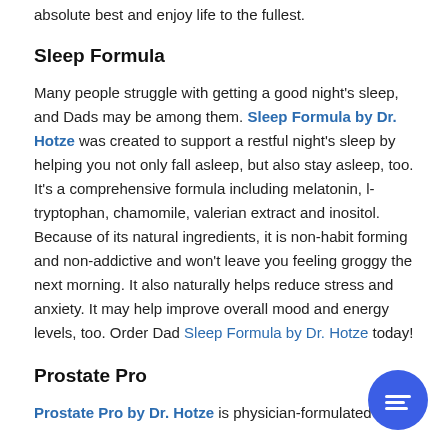absolute best and enjoy life to the fullest.
Sleep Formula
Many people struggle with getting a good night's sleep, and Dads may be among them. Sleep Formula by Dr. Hotze was created to support a restful night's sleep by helping you not only fall asleep, but also stay asleep, too. It's a comprehensive formula including melatonin, l-tryptophan, chamomile, valerian extract and inositol. Because of its natural ingredients, it is non-habit forming and non-addictive and won't leave you feeling groggy the next morning. It also naturally helps reduce stress and anxiety. It may help improve overall mood and energy levels, too. Order Dad Sleep Formula by Dr. Hotze today!
Prostate Pro
Prostate Pro by Dr. Hotze is physician-formulated to